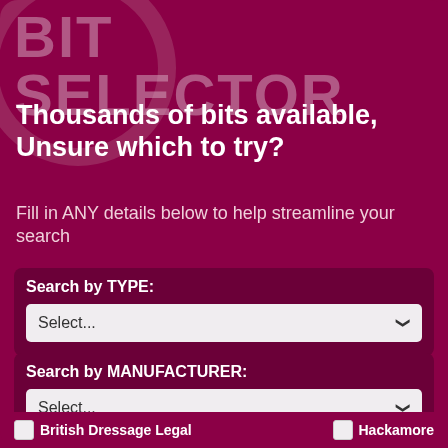BIT SELECTOR
Thousands of bits available, Unsure which to try?
Fill in ANY details below to help streamline your search
Search by TYPE:
Select...
Search by MANUFACTURER:
Select...
British Dressage Legal
Hackamore